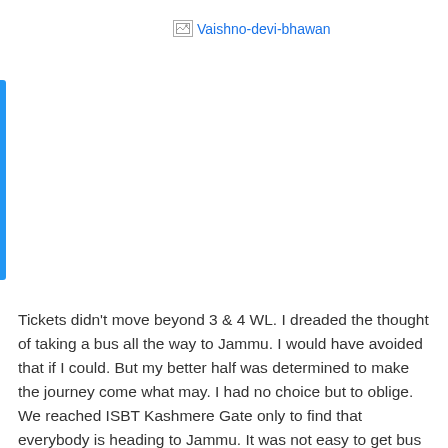[Figure (photo): Broken image placeholder with link text 'Vaishno-devi-bhawan' shown as an unloaded image]
Tickets didn't move beyond 3 & 4 WL. I dreaded the thought of taking a bus all the way to Jammu. I would have avoided that if I could. But my better half was determined to make the journey come what may. I had no choice but to oblige. We reached ISBT Kashmere Gate only to find that everybody is heading to Jammu. It was not easy to get bus tickets. Again it was time for the lady power. We finally managed to get on to the bus but not before many frantic calls to conductor selling tickets at the counter. The counter was being attacked for tickets from all